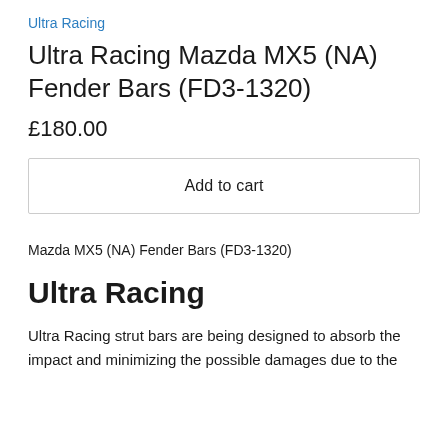Ultra Racing
Ultra Racing Mazda MX5 (NA) Fender Bars (FD3-1320)
£180.00
Add to cart
Mazda MX5 (NA) Fender Bars (FD3-1320)
Ultra Racing
Ultra Racing strut bars are being designed to absorb the impact and minimizing the possible damages due to the